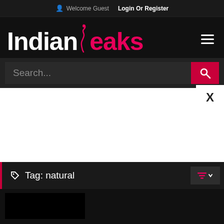Welcome Guest  Login Or Register
[Figure (logo): IndianLeaks website logo with white 'Indian' text and pink 'leaks' text with a decorative female silhouette figure, on dark background]
Search...
Tag: natural